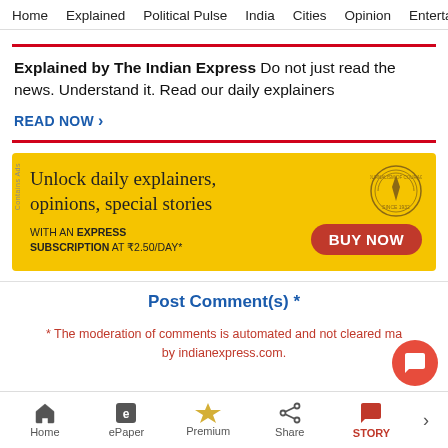Home   Explained   Political Pulse   India   Cities   Opinion   Entertainment
Explained by The Indian Express Do not just read the news. Understand it. Read our daily explainers
READ NOW >
[Figure (infographic): Yellow advertisement banner for Indian Express subscription. Text: 'Unlock daily explainers, opinions, special stories WITH AN EXPRESS SUBSCRIPTION AT ₹2.50/DAY*' with a red BUY NOW button and a circular badge/logo on the right.]
Post Comment(s) *
* The moderation of comments is automated and not cleared manually by indianexpress.com.
Home   ePaper   Premium   Share   STORY